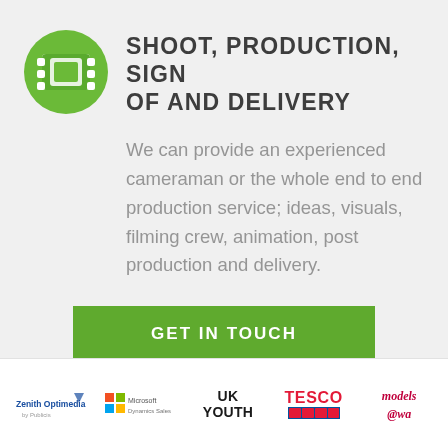SHOOT, PRODUCTION, SIGN OF AND DELIVERY
We can provide an experienced cameraman or the whole end to end production service; ideas, visuals, filming crew, animation, post production and delivery.
[Figure (illustration): Green button/link labeled GET IN TOUCH]
[Figure (logo): Row of logos: Zenith Optimedia, Microsoft Dynamics Sales, UK YOUTH, TESCO, models@wa]